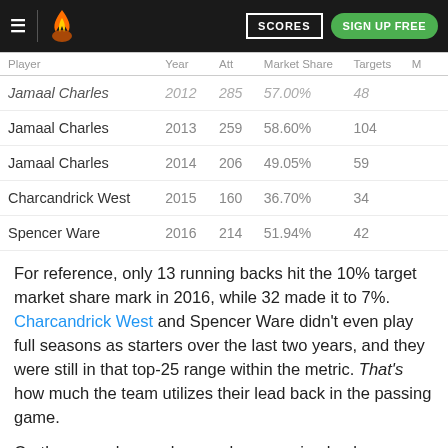≡ [logo] SCORES SIGN UP FREE
| Player | Year | Att | Market Share | Targets | M |
| --- | --- | --- | --- | --- | --- |
| Jamaal Charles | 2012 | 285 | 57.00% | 48 |  |
| Jamaal Charles | 2013 | 259 | 58.60% | 104 |  |
| Jamaal Charles | 2014 | 206 | 49.05% | 59 |  |
| Charcandrick West | 2015 | 160 | 36.70% | 34 |  |
| Spencer Ware | 2016 | 214 | 51.94% | 42 |  |
For reference, only 13 running backs hit the 10% target market share mark in 2016, while 32 made it to 7%. Charcandrick West and Spencer Ware didn't even play full seasons as starters over the last two years, and they were still in that top-25 range within the metric. That's how much the team utilizes their lead back in the passing game.
On the ground -- you know, where running backs